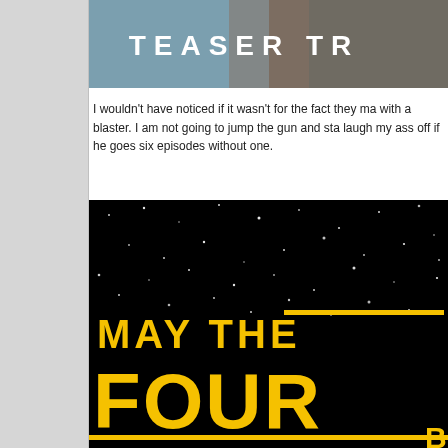[Figure (screenshot): Teaser trailer image header with text 'TEASER TR' visible on a blue-grey background with fur/figure visible on right]
I wouldn't have noticed if it wasn't for the fact they ma with a blaster. I am not going to jump the gun and sta laugh my ass off if he goes six episodes without one.
[Figure (photo): Star Wars style image with black starfield background, yellow bold text reading 'MAY THE FOUR...' with yellow horizontal lines, in Star Wars movie poster style]